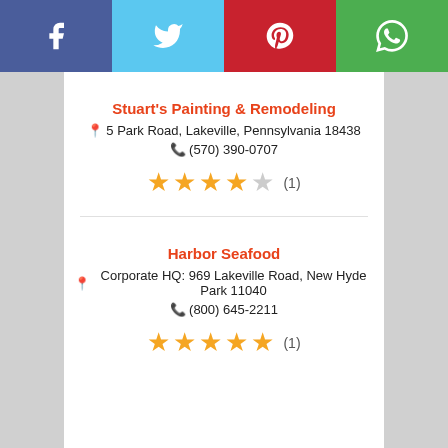[Figure (infographic): Social media share buttons bar: Facebook (blue), Twitter (light blue), Pinterest (red), WhatsApp (green)]
Stuart's Painting & Remodeling
5 Park Road, Lakeville, Pennsylvania 18438
(570) 390-0707
★★★★☆ (1)
Harbor Seafood
Corporate HQ: 969 Lakeville Road, New Hyde Park 11040
(800) 645-2211
★★★★★ (1)